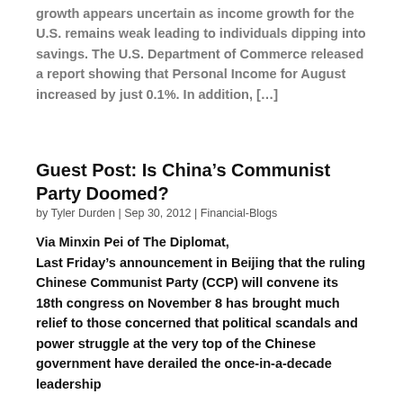growth appears uncertain as income growth for the U.S. remains weak leading to individuals dipping into savings. The U.S. Department of Commerce released a report showing that Personal Income for August increased by just 0.1%. In addition, […]
Guest Post: Is China's Communist Party Doomed?
by Tyler Durden | Sep 30, 2012 | Financial-Blogs
Via Minxin Pei of The Diplomat,
Last Friday's announcement in Beijing that the ruling Chinese Communist Party (CCP) will convene its 18th congress on November 8 has brought much relief to those concerned that political scandals and power struggle at the very top of the Chinese government have derailed the once-in-a-decade leadership